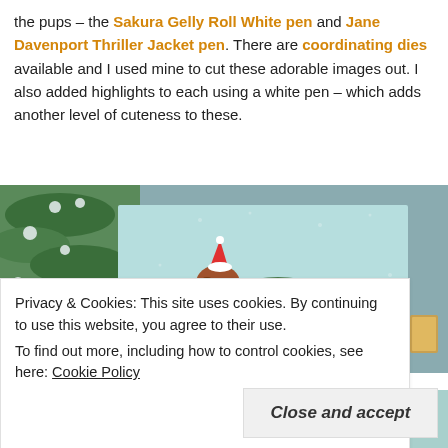the pups – the Sakura Gelly Roll White pen and Jane Davenport Thriller Jacket pen. There are coordinating dies available and I used mine to cut these adorable images out. I also added highlights to each using a white pen – which adds another level of cuteness to these.
[Figure (photo): Photo of a hand-crafted greeting card featuring a dachshund dog wearing a Santa hat and green sweater, carrying a yellow gift box, on a light blue background. Snowy evergreen branches visible on the left side and bottom of the card.]
Privacy & Cookies: This site uses cookies. By continuing to use this website, you agree to their use.
To find out more, including how to control cookies, see here: Cookie Policy
Close and accept